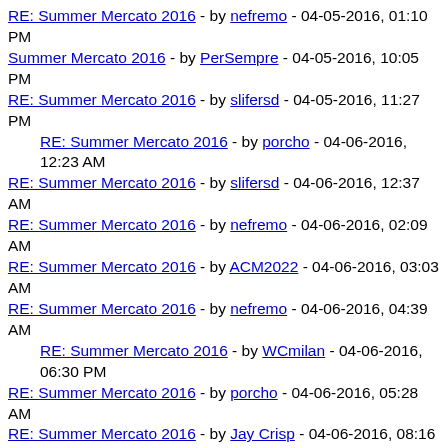RE: Summer Mercato 2016 - by nefremo - 04-05-2016, 01:10 PM
Summer Mercato 2016 - by PerSempre - 04-05-2016, 10:05 PM
RE: Summer Mercato 2016 - by slifersd - 04-05-2016, 11:27 PM
RE: Summer Mercato 2016 - by porcho - 04-06-2016, 12:23 AM
RE: Summer Mercato 2016 - by slifersd - 04-06-2016, 12:37 AM
RE: Summer Mercato 2016 - by nefremo - 04-06-2016, 02:09 AM
RE: Summer Mercato 2016 - by ACM2022 - 04-06-2016, 03:03 AM
RE: Summer Mercato 2016 - by nefremo - 04-06-2016, 04:39 AM
RE: Summer Mercato 2016 - by WCmilan - 04-06-2016, 06:30 PM
RE: Summer Mercato 2016 - by porcho - 04-06-2016, 05:28 AM
RE: Summer Mercato 2016 - by Jay Crisp - 04-06-2016, 08:16 AM
RE: Summer Mercato 2016 - by ACMILAN1983 - 04-06-2016, 09:22 AM
RE: Summer Mercato 2016 - by Arildonardo - 04-06-2016,